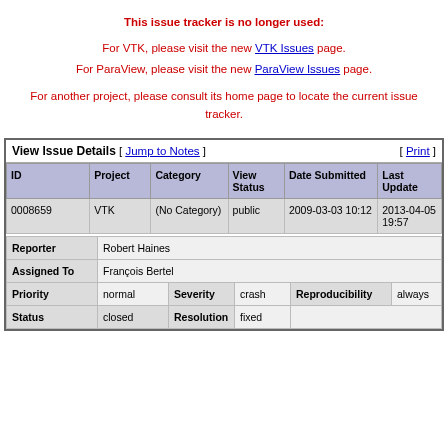This issue tracker is no longer used:
For VTK, please visit the new VTK Issues page.
For ParaView, please visit the new ParaView Issues page.
For another project, please consult its home page to locate the current issue tracker.
| ID | Project | Category | View Status | Date Submitted | Last Update |
| --- | --- | --- | --- | --- | --- |
| 0008659 | VTK | (No Category) | public | 2009-03-03 10:12 | 2013-04-05 19:57 |
| Reporter | Assigned To | Priority | Status |
| --- | --- | --- | --- |
| Robert Haines |  |  |  |  |  |
| François Bertel |  |  |  |  |  |
| normal | Severity | crash | Reproducibility | always |  |
| closed | Resolution | fixed |  |  |  |